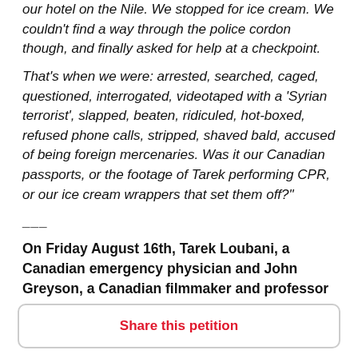our hotel on the Nile. We stopped for ice cream. We couldn't find a way through the police cordon though, and finally asked for help at a checkpoint.
That's when we were: arrested, searched, caged, questioned, interrogated, videotaped with a 'Syrian terrorist', slapped, beaten, ridiculed, hot-boxed, refused phone calls, stripped, shaved bald, accused of being foreign mercenaries. Was it our Canadian passports, or the footage of Tarek performing CPR, or our ice cream wrappers that set them off?"
___
On Friday August 16th, Tarek Loubani, a Canadian emergency physician and John Greyson, a Canadian filmmaker and professor were arrested by Egyptian
Share this petition